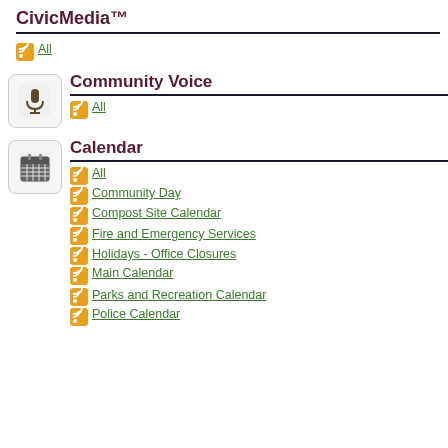CivicMedia™
All
Community Voice
All
Calendar
All
Community Day
Compost Site Calendar
Fire and Emergency Services
Holidays - Office Closures
Main Calendar
Parks and Recreation Calendar
Police Calendar